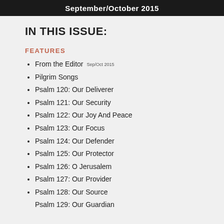September/October 2015
IN THIS ISSUE:
FEATURES
From the Editor Sep/Oct 2015
Pilgrim Songs
Psalm 120: Our Deliverer
Psalm 121: Our Security
Psalm 122: Our Joy And Peace
Psalm 123: Our Focus
Psalm 124: Our Defender
Psalm 125: Our Protector
Psalm 126: O Jerusalem
Psalm 127: Our Provider
Psalm 128: Our Source
Psalm 129: Our Guardian